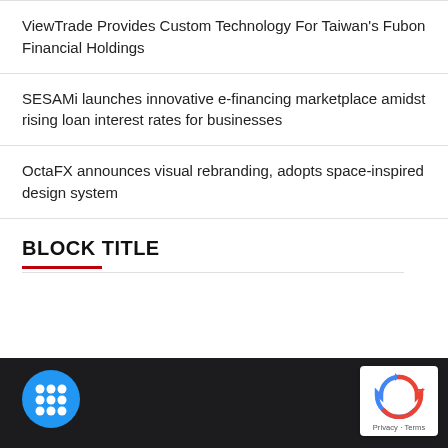ViewTrade Provides Custom Technology For Taiwan's Fubon Financial Holdings
SESAMi launches innovative e-financing marketplace amidst rising loan interest rates for businesses
OctaFX announces visual rebranding, adopts space-inspired design system
BLOCK TITLE
[Figure (logo): Blue circle with six white dots arranged in a 2x3 grid pattern, resembling a dice or domino pattern on a dark footer background]
[Figure (other): Google reCAPTCHA badge showing recycling arrows logo with 'Privacy · Terms' text below on white background]